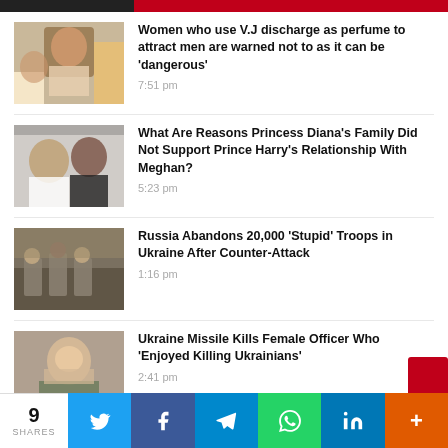Header bar
Women who use V.J discharge as perfume to attract men are warned not to as it can be 'dangerous'
What Are Reasons Princess Diana's Family Did Not Support Prince Harry's Relationship With Meghan?
Russia Abandons 20,000 'Stupid' Troops in Ukraine After Counter-Attack
Ukraine Missile Kills Female Officer Who 'Enjoyed Killing Ukrainians'
9 SHARES | Twitter | Facebook | Telegram | WhatsApp | LinkedIn | More